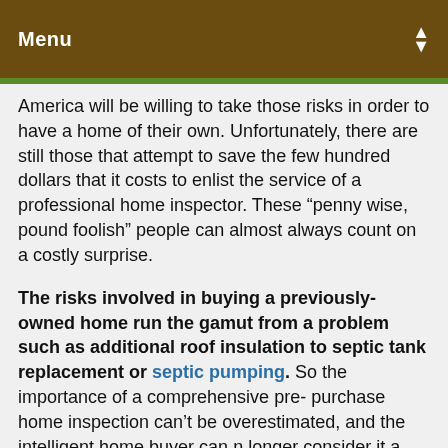Menu
America will be willing to take those risks in order to have a home of their own. Unfortunately, there are still those that attempt to save the few hundred dollars that it costs to enlist the service of a professional home inspector. These “penny wise, pound foolish” people can almost always count on a costly surprise.
The risks involved in buying a previously-owned home run the gamut from a problem such as additional roof insulation to septic tank replacement or septic pumping. So the importance of a comprehensive pre- purchase home inspection can’t be overestimated, and the intelligent home buyer can n longer consider it a mere formality. With the average purchase price expected to be more than $100,000, buying a home is likely to be the largest single investment most people will ever make.